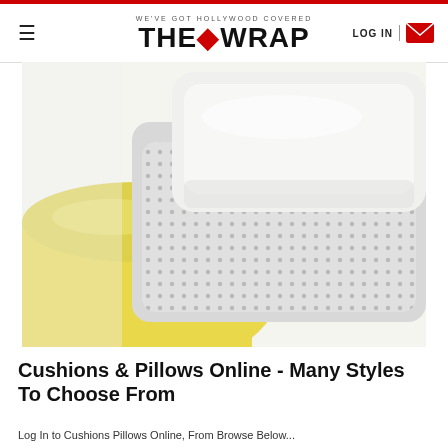WE'VE GOT HOLLYWOOD COVERED — THE WRAP
[Figure (photo): Close-up photo of stacked cushions and pillows — a yellow cushion, a white pillow with dotted/mesh texture, and a light grey pillow on top, photographed from close range against a white background.]
Cushions & Pillows Online - Many Styles To Choose From
Log In to Cushions Pillows Online, From Browse Below...